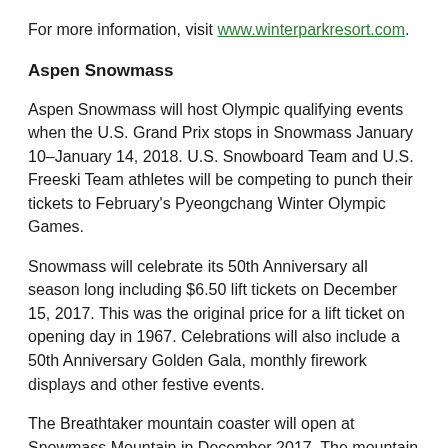For more information, visit www.winterparkresort.com.
Aspen Snowmass
Aspen Snowmass will host Olympic qualifying events when the U.S. Grand Prix stops in Snowmass January 10–January 14, 2018. U.S. Snowboard Team and U.S. Freeski Team athletes will be competing to punch their tickets to February's Pyeongchang Winter Olympic Games.
Snowmass will celebrate its 50th Anniversary all season long including $6.50 lift tickets on December 15, 2017. This was the original price for a lift ticket on opening day in 1967. Celebrations will also include a 50th Anniversary Golden Gala, monthly firework displays and other festive events.
The Breathtaker mountain coaster will open at Snowmass Mountain in December 2017. The mountain coaster will drop guests more than 400 vertical feet on a mile of turning track